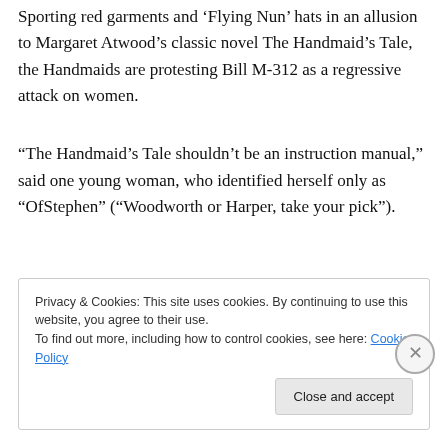Sporting red garments and 'Flying Nun' hats in an allusion to Margaret Atwood's classic novel The Handmaid's Tale, the Handmaids are protesting Bill M-312 as a regressive attack on women.
“The Handmaid’s Tale shouldn’t be an instruction manual,” said one young woman, who identified herself only as “OfStephen” (“Woodworth or Harper, take your pick”).
Privacy & Cookies: This site uses cookies. By continuing to use this website, you agree to their use. To find out more, including how to control cookies, see here: Cookie Policy